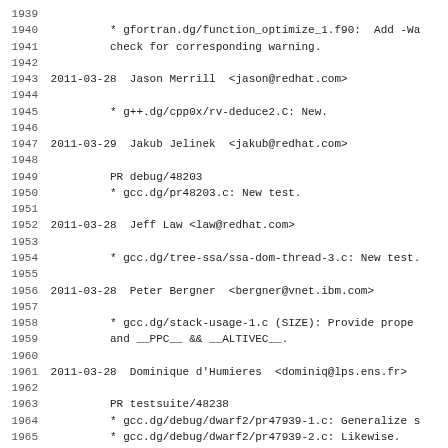1939
1940        * gfortran.dg/function_optimize_1.f90:  Add -Wa
1941          check for corresponding warning.
1942
1943 2011-03-28  Jason Merrill  <jason@redhat.com>
1944
1945        * g++.dg/cpp0x/rv-deduce2.C: New.
1946
1947 2011-03-29  Jakub Jelinek  <jakub@redhat.com>
1948
1949        PR debug/48203
1950        * gcc.dg/pr48203.c: New test.
1951
1952 2011-03-28  Jeff Law <law@redhat.com>
1953
1954        * gcc.dg/tree-ssa/ssa-dom-thread-3.c: New test.
1955
1956 2011-03-28  Peter Bergner  <bergner@vnet.ibm.com>
1957
1958        * gcc.dg/stack-usage-1.c (SIZE): Provide prope
1959          and __PPC__ && __ALTIVEC__.
1960
1961 2011-03-28  Dominique d'Humieres  <dominiq@lps.ens.fr>
1962
1963        PR testsuite/48238
1964        * gcc.dg/debug/dwarf2/pr47939-1.c: Generalize s
1965        * gcc.dg/debug/dwarf2/pr47939-2.c: Likewise.
1966        * gcc.dg/debug/dwarf2/pr47939-3.c: Likewise.
1967        * gcc.dg/debug/dwarf2/pr47939-4.c: Likewise.
1968
1969 2011-03-28  Jason Merrill  <jason@redhat.com>
1970